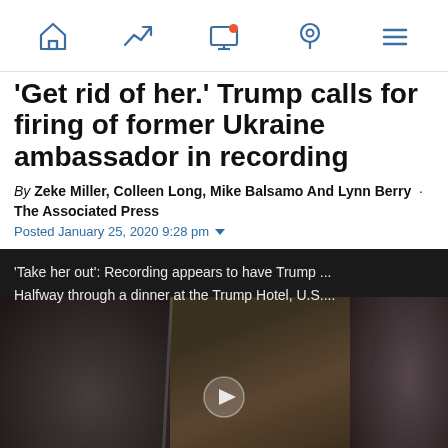Navigation bar with home, trending, notifications, location, menu icons
'Get rid of her.' Trump calls for firing of former Ukraine ambassador in recording
By Zeke Miller, Colleen Long, Mike Balsamo And Lynn Berry · The Associated Press
Posted January 25, 2020 9:28 pm
[Figure (screenshot): Video thumbnail showing: 'Take her out': Recording appears to have Trump ... Halfway through a dinner at the Trump Hotel, U.S.... with a dark video still of a dinner scene and Global News watermark]